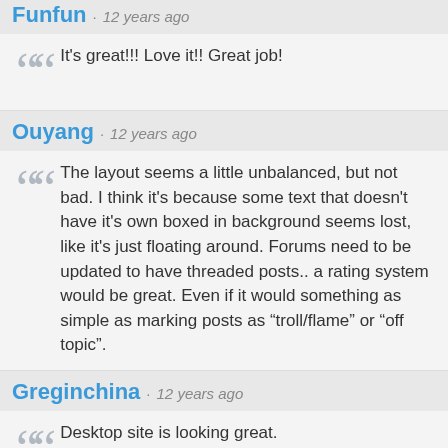Funfun · 12 years ago
It's great!!! Love it!! Great job!
Ouyang · 12 years ago
The layout seems a little unbalanced, but not bad. I think it's because some text that doesn't have it's own boxed in background seems lost, like it's just floating around. Forums need to be updated to have threaded posts.. a rating system would be great. Even if it would something as simple as marking posts as "troll/flame" or "off topic".
Greginchina · 12 years ago
Desktop site is looking great.

However the mobile site still doesn't work for